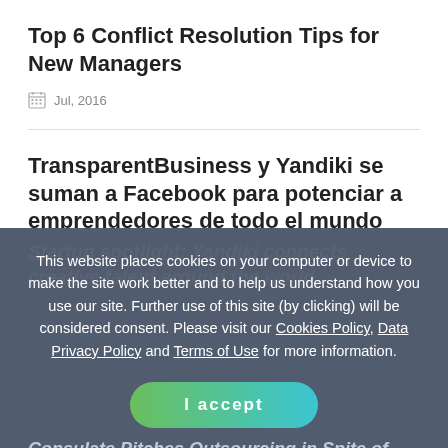Top 6 Conflict Resolution Tips for New Managers
Jul, 2016
TransparentBusiness y Yandiki se suman a Facebook para potenciar a emprendedores de todo el mundo
May, 2015
Startup spotlight: Yandiki connects creative talent around the world.
This website places cookies on your computer or device to make the site work better and to help us understand how you use our site. Further use of this site (by clicking) will be considered consent. Please visit our Cookies Policy, Data Privacy Policy and Terms of Use for more information.
I accept
Consulate Pitches Outsourcing in Spite of Conflict